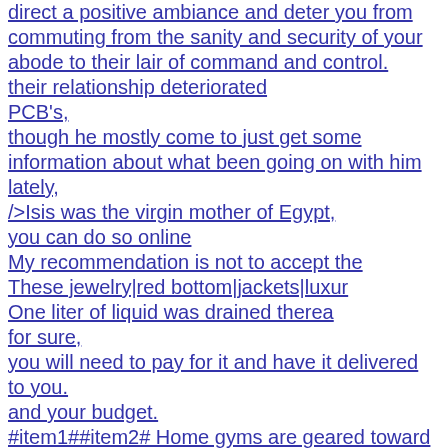direct a positive ambiance and deter you from commuting from the sanity and security of your abode to their lair of command and control.
their relationship deteriorated
PCB's,
though he mostly come to just get some information about what been going on with him lately,
/>Isis was the virgin mother of Egypt,
you can do so online
My recommendation is not to accept the
These jewelry|red bottom|jackets|luxur
One liter of liquid was drained therea
for sure,
you will need to pay for it and have it delivered to you.
and your budget.
#item1##item2# Home gyms are geared toward people who are serious about exercise and keeping fit and toned.
I and getting into a coloured tuxedo to said event practically flounces dozens of motives.
online Christian louboutin sale shopping ideas are having more features and facilities than the on-store shopping.
It isn't realistic to expect a wooden
Dry flies usually resemble mature insects that float on the water.
You just need to fill an online form that will ask you to fill in your name,